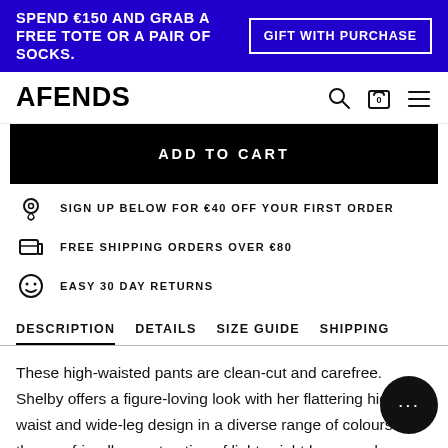SPEND €150 AND GRAB A FREE TOTE OR A PAIR OF SOCKS. | GIFT WITH PURCHASE
AFENDS
ADD TO CART
SIGN UP BELOW FOR €40 OFF YOUR FIRST ORDER
FREE SHIPPING ORDERS OVER €80
EASY 30 DAY RETURNS
DESCRIPTION  DETAILS  SIZE GUIDE  SHIPPING
These high-waisted pants are clean-cut and carefree. Shelby offers a figure-loving look with her flattering high-rise waist and wide-leg design in a diverse range of colours. In the eco-friendly construction of lightweight hemp and organic cotton twill, you'll want a pair in each colour.